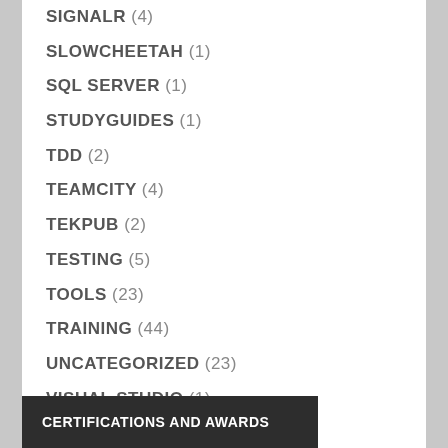SIGNALR (4)
SLOWCHEETAH (1)
SQL SERVER (1)
STUDYGUIDES (1)
TDD (2)
TEAMCITY (4)
TEKPUB (2)
TESTING (5)
TOOLS (23)
TRAINING (44)
UNCATEGORIZED (23)
VISUAL STUDIO (1)
VSTS (4)
CERTIFICATIONS AND AWARDS